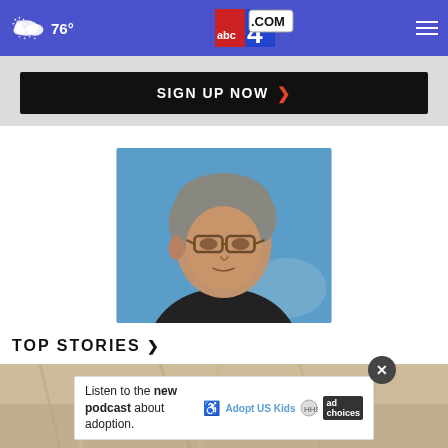abc4.com — 76° weather
SIGN UP NOW ›
[Figure (photo): Man with glasses and grey hair, wearing a dark jacket, photographed against a blue background]
TOP STORIES ›
[Figure (photo): Bottom partial photo of a person with blonde/grey hair]
Listen to the new podcast about adoption.